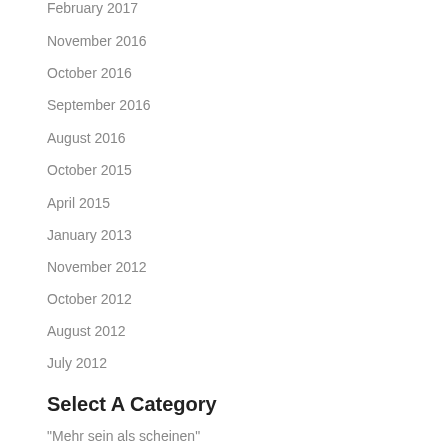February 2017
November 2016
October 2016
September 2016
August 2016
October 2015
April 2015
January 2013
November 2012
October 2012
August 2012
July 2012
Select A Category
"Mehr sein als scheinen"